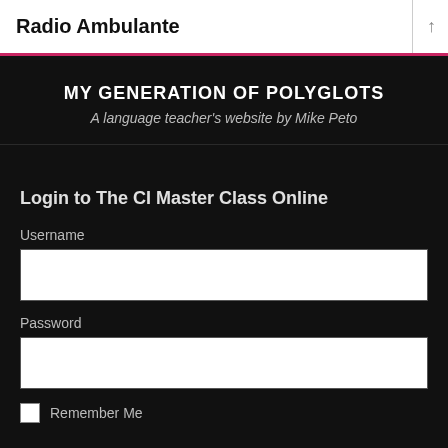Radio Ambulante
MY GENERATION OF POLYGLOTS
A language teacher's website by Mike Peto
Login to The CI Master Class Online
Username
Password
Remember Me
LOG IN